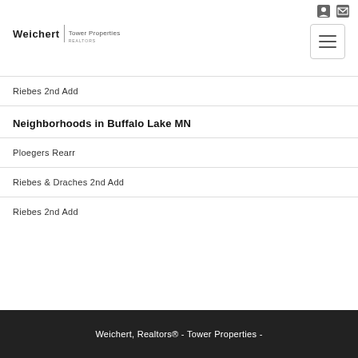[Figure (logo): Weichert Realtors Tower Properties logo with divider]
Riebes 2nd Add
Neighborhoods in Buffalo Lake MN
Ploegers Rearr
Riebes & Draches 2nd Add
Riebes 2nd Add
Weichert, Realtors® - Tower Properties -